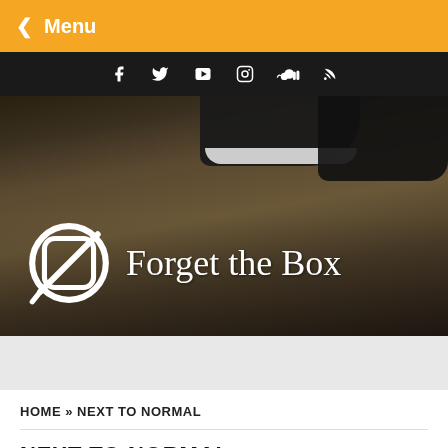< Menu
[Figure (illustration): Social media icon bar (Facebook, Twitter, YouTube, Instagram, SoundCloud, RSS) on black background]
[Figure (logo): Forget the Box logo with crossed-circle symbol and serif text over a photo of feet/shoes on pavement]
HOME » NEXT TO NORMAL
NEXT TO NORMAL